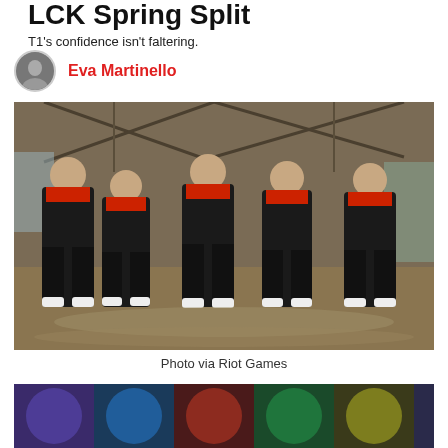LCK Spring Split
T1's confidence isn't faltering.
Eva Martinello
[Figure (photo): Five T1 esports players in black and red jerseys standing together giving thumbs up in an industrial warehouse setting]
Photo via Riot Games
[Figure (photo): Colorful League of Legends champion splash art banner at the bottom of the page]